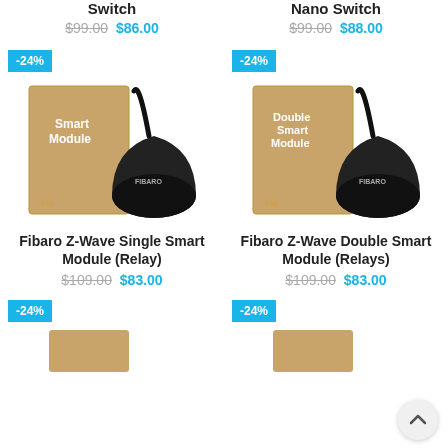Switch
$99.00  $86.00
Nano Switch
$99.00  $88.00
-24%
-24%
[Figure (photo): Fibaro Z-Wave Single Smart Module (Relay) product box and device]
[Figure (photo): Fibaro Z-Wave Double Smart Module (Relays) product box and device]
Fibaro Z-Wave Single Smart Module (Relay)
$109.00  $83.00
Fibaro Z-Wave Double Smart Module (Relays)
$109.00  $83.00
-24%
-24%
[Figure (photo): Partial product image bottom left]
[Figure (photo): Partial product image bottom right]